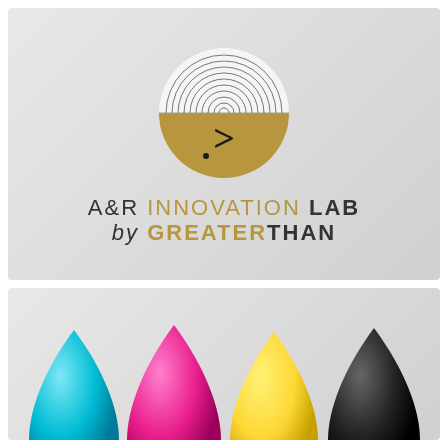[Figure (logo): A&R Innovation Lab by GreaterThan logo: circular emblem with concentric arcs in top half and gold semicircle with '>' symbol in bottom half, above the brand name text.]
[Figure (photo): Four CMYK ink drop / cone shapes in cyan, magenta, yellow, and black colors arranged in a row at the bottom of the panel.]